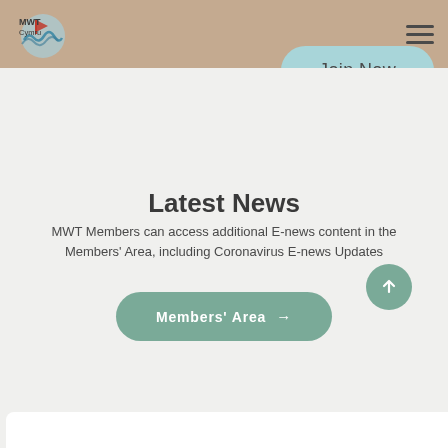MWT Cymru — navigation header with logo and hamburger menu
Join Now
Latest News
MWT Members can access additional E-news content in the Members' Area, including Coronavirus E-news Updates
Members' Area →
[Figure (other): Scroll-up arrow button (circular teal button with upward arrow)]
[Figure (other): Bottom white card strip partially visible at page bottom]